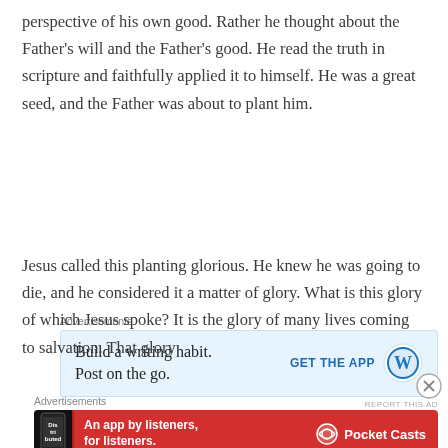perspective of his own good. Rather he thought about the Father's will and the Father's good. He read the truth in scripture and faithfully applied it to himself. He was a great seed, and the Father was about to plant him.
[Figure (infographic): Advertisement banner for WordPress app: 'Build a writing habit. Post on the go.' with GET THE APP button and WordPress logo on blue background]
Jesus called this planting glorious. He knew he was going to die, and he considered it a matter of glory. What is this glory of which Jesus spoke? It is the glory of many lives coming to salvation. That glory
[Figure (infographic): Advertisement banner for Pocket Casts: 'An app by listeners, for listeners.' on red background with phone image and Pocket Casts logo]